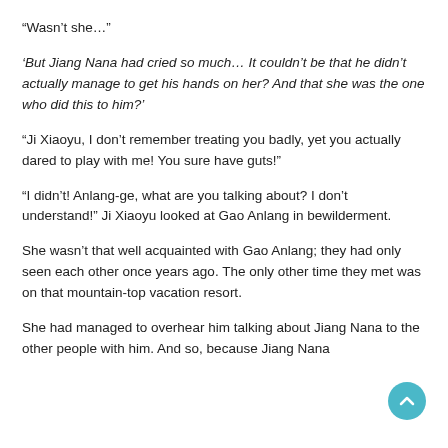“Wasn’t she…”
‘But Jiang Nana had cried so much… It couldn’t be that he didn’t actually manage to get his hands on her? And that she was the one who did this to him?’
“Ji Xiaoyu, I don’t remember treating you badly, yet you actually dared to play with me! You sure have guts!”
“I didn’t! Anlang-ge, what are you talking about? I don’t understand!” Ji Xiaoyu looked at Gao Anlang in bewilderment.
She wasn’t that well acquainted with Gao Anlang; they had only seen each other once years ago. The only other time they met was on that mountain-top vacation resort.
She had managed to overhear him talking about Jiang Nana to the other people with him. And so, because Jiang Nana